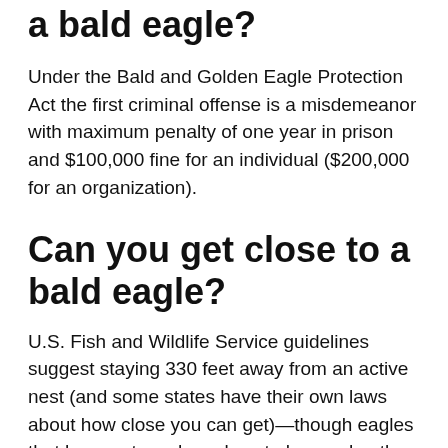…g a bald eagle?
Under the Bald and Golden Eagle Protection Act the first criminal offense is a misdemeanor with maximum penalty of one year in prison and $100,000 fine for an individual ($200,000 for an organization).
Can you get close to a bald eagle?
U.S. Fish and Wildlife Service guidelines suggest staying 330 feet away from an active nest (and some states have their own laws about how close you can get)—though eagles that have set up shop close to human hustle-and-bustle might be more comfortable